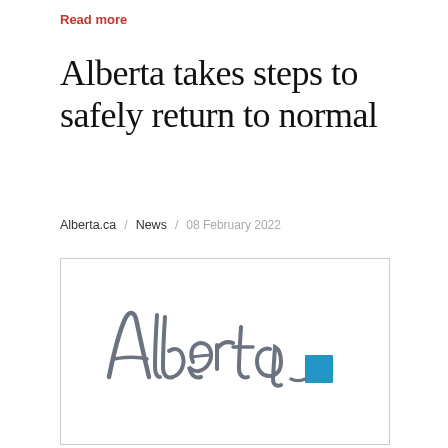Read more
Alberta takes steps to safely return to normal
Alberta.ca / News / 08 February 2022
[Figure (logo): Alberta government logo: stylized cursive 'Alberta' text in dark grey with a blue square accent]